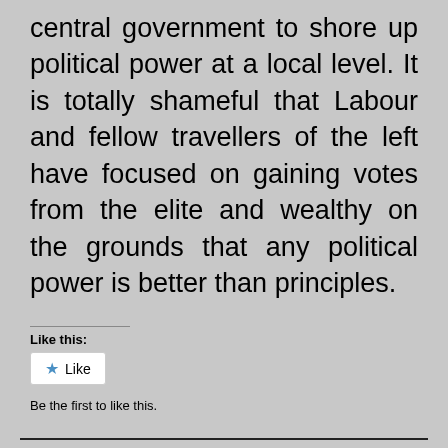central government to shore up political power at a local level. It is totally shameful that Labour and fellow travellers of the left have focused on gaining votes from the elite and wealthy on the grounds that any political power is better than principles.
Like this:
[Figure (other): Like button widget with star icon and 'Like' text]
Be the first to like this.